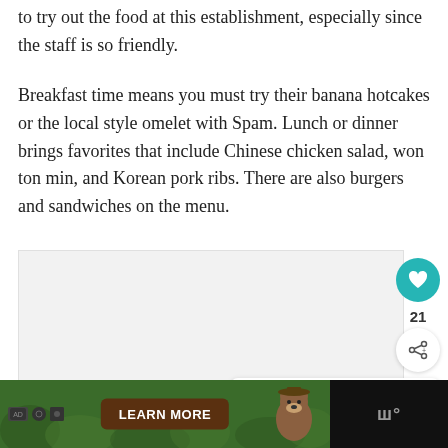to try out the food at this establishment, especially since the staff is so friendly.
Breakfast time means you must try their banana hotcakes or the local style omelet with Spam. Lunch or dinner brings favorites that include Chinese chicken salad, won ton min, and Korean pork ribs. There are also burgers and sandwiches on the menu.
[Figure (photo): Image region placeholder (photo of restaurant or food), with social interaction buttons: heart/like button (teal circle) showing count of 21, and a share button. A 'What's Next' card shows a thumbnail with text 'The best restaurants ...'.]
[Figure (screenshot): Advertisement banner at bottom with dark background, green section with icons, a 'LEARN MORE' brown button, a Smokey Bear mascot image, and a TV channel logo on the right.]